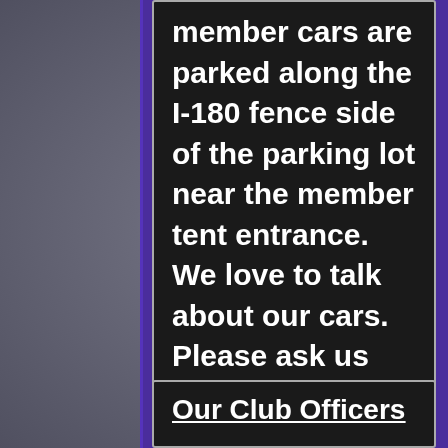member cars are parked along the I-180 fence side of the parking lot near the member tent entrance.  We love to talk about our cars.  Please ask us about them.
Our Club Officers